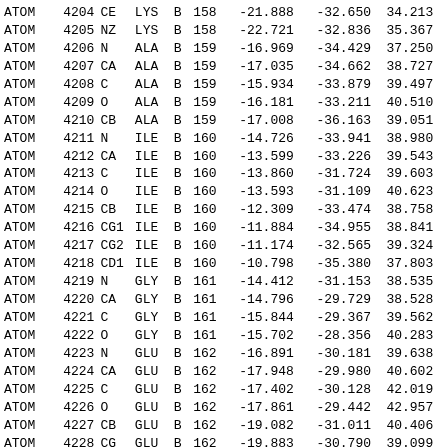| Record | Serial | Name | ResName | Chain | ResSeq | x | y | z | ... |
| --- | --- | --- | --- | --- | --- | --- | --- | --- | --- |
| ATOM | 4204 | CE | LYS | B | 158 | -21.888 | -32.650 | 34.213 |  |
| ATOM | 4205 | NZ | LYS | B | 158 | -22.721 | -32.836 | 35.367 |  |
| ATOM | 4206 | N | ALA | B | 159 | -16.969 | -34.429 | 37.250 |  |
| ATOM | 4207 | CA | ALA | B | 159 | -17.035 | -34.662 | 38.727 |  |
| ATOM | 4208 | C | ALA | B | 159 | -15.934 | -33.879 | 39.497 |  |
| ATOM | 4209 | O | ALA | B | 159 | -16.181 | -33.211 | 40.510 |  |
| ATOM | 4210 | CB | ALA | B | 159 | -17.008 | -36.163 | 39.051 |  |
| ATOM | 4211 | N | ILE | B | 160 | -14.726 | -33.941 | 38.980 |  |
| ATOM | 4212 | CA | ILE | B | 160 | -13.599 | -33.226 | 39.543 |  |
| ATOM | 4213 | C | ILE | B | 160 | -13.860 | -31.724 | 39.603 |  |
| ATOM | 4214 | O | ILE | B | 160 | -13.593 | -31.109 | 40.623 |  |
| ATOM | 4215 | CB | ILE | B | 160 | -12.309 | -33.474 | 38.758 |  |
| ATOM | 4216 | CG1 | ILE | B | 160 | -11.884 | -34.955 | 38.841 |  |
| ATOM | 4217 | CG2 | ILE | B | 160 | -11.174 | -32.565 | 39.324 |  |
| ATOM | 4218 | CD1 | ILE | B | 160 | -10.798 | -35.380 | 37.803 |  |
| ATOM | 4219 | N | GLY | B | 161 | -14.412 | -31.153 | 38.535 |  |
| ATOM | 4220 | CA | GLY | B | 161 | -14.796 | -29.729 | 38.528 |  |
| ATOM | 4221 | C | GLY | B | 161 | -15.844 | -29.367 | 39.562 |  |
| ATOM | 4222 | O | GLY | B | 161 | -15.702 | -28.356 | 40.283 |  |
| ATOM | 4223 | N | GLU | B | 162 | -16.891 | -30.181 | 39.638 |  |
| ATOM | 4224 | CA | GLU | B | 162 | -17.948 | -29.980 | 40.602 |  |
| ATOM | 4225 | C | GLU | B | 162 | -17.402 | -30.128 | 42.019 |  |
| ATOM | 4226 | O | GLU | B | 162 | -17.861 | -29.442 | 42.957 |  |
| ATOM | 4227 | CB | GLU | B | 162 | -19.082 | -31.011 | 40.406 |  |
| ATOM | 4228 | CG | GLU | B | 162 | -19.883 | -30.790 | 39.099 |  |
| ATOM | 4229 | CD | GLU | B | 162 | -20.813 | -31.956 | 38.746 |  |
| ATOM | 4230 | OE1 | GLU | B | 162 | -20.769 | -33.034 | 39.411 |  |
| ATOM | 4231 | OE2 | GLU | B | 162 | -21.623 | -31.768 | 37.822 |  |
| ATOM | 4232 | N | ALA | B | 163 | -16.452 | -31.039 | 42.201 |  |
| ATOM | 4233 | CA | ALA | B | 163 | -15.873 | -31.134 | 43.537 |  |